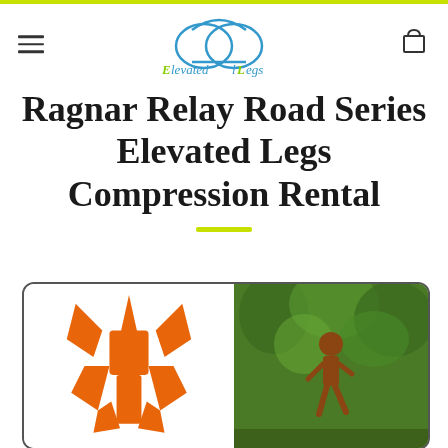Elevated Legs — navigation header with logo, hamburger menu, and cart icon
Ragnar Relay Road Series Elevated Legs Compression Rental
[Figure (illustration): Image box with Ragnar Relay orange logo mark on left side and a photo of a runner in a green forested area on right side, inside a rounded rectangle border.]